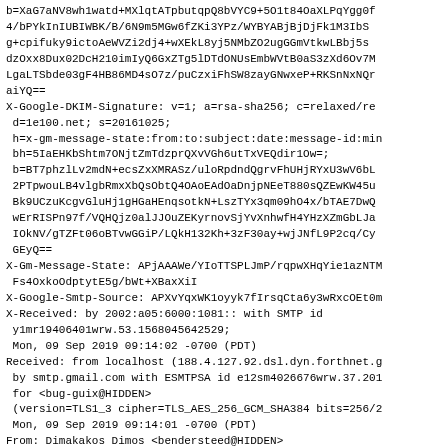b=XaG7aNV8wh1watd+MXlqtATpbutqpQ8bVYC9+5O1t84OaXLPqYgg0f4/bPYkInIUBIWBK/B/6N9m5MGw6fZKi3YPz/WYBYABjBjDjFk1M3IbSg+cpifuky9ictoAeWVZi2dj4+wXEkL8yj5NMbZO2ugGGmVtkwLBbj5sdzOxx8Dux02DcH210imIyQ6GxZTg5lDTdONUsEmbWVtB0aS3zXd6Ov7MLgaLTSbde03gF4HB86MD4sO7z/puCzxiFhSW8zayGNwxeP+RKSnNxNQraiYQ==
X-Google-DKIM-Signature: v=1; a=rsa-sha256; c=relaxed/re d=1e100.net; s=20161025;
 h=x-gm-message-state:from:to:subject:date:message-id:min bh=5IaEHKbShtm7ONjtZmTdzprQXvVGh6utTxVEQdir1Ow=;
 b=BT7phzlLv2mdN+ecsZxXMRASz/uloRpdndQgrvFhUHjRYxU3wV6bL82PTpwouLB4vlgbRmxXbQsObtQ4OAoEAdOaDnjpNEeT880sQZEwKW45u7Bk9UCzuKcgvGluHj1gHGaHEnqsotkN+LszTYx3qm09hO4x/bTAE7DwQIwErRISPn97f/VQHQjz0alJJOuZEKyrnovSjYvXnhwfH4YHzXZmGbLJaFIOkNV/gTZFt06oBTvwGGiP/LQkH132Kh+3zF30ay+wjJNfL9P2cq/CytGEyQ==
X-Gm-Message-State: APjAAAWe/YIoTTSPLJmP/rqpwXHqYie1azNTMFs4OxkoOdptytE5g/bWt+XBaxXiI
X-Google-Smtp-Source: APXvYqxWK1oyyk7fIrsqCta6y3wRxcOEt0m
X-Received: by 2002:a05:6000:1081:: with SMTP id y1mr19406401wrw.53.1568045642529;
 Mon, 09 Sep 2019 09:14:02 -0700 (PDT)
Received: from localhost (188.4.127.92.dsl.dyn.forthnet.g by smtp.gmail.com with ESMTPSA id e12sm4026676wrw.37.201 for <bug-guix@HIDDEN>
 (version=TLS1_3 cipher=TLS_AES_256_GCM_SHA384 bits=256/2 Mon, 09 Sep 2019 09:14:01 -0700 (PDT)
From: Dimakakos Dimos <bendersteed@HIDDEN>
Date: Mon, 09 Sep 2019 19:13:59 +0300
Message-ID: <87y2yxsb08.fsf@HIDDEN>